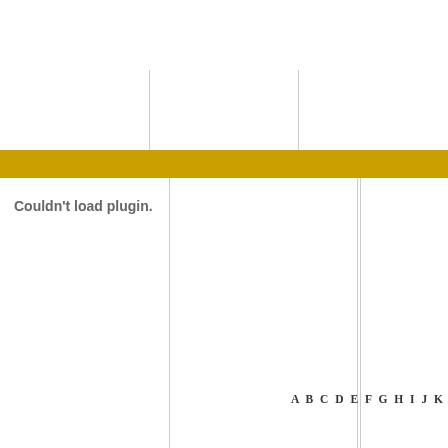Couldn't load plugin.
A B C D E F G H I J K
Ahlvarsson, Ola
CEO,
Result Strategy AB